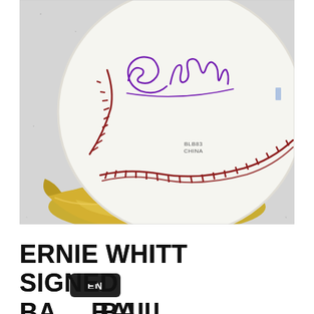[Figure (photo): A signed baseball resting on a gold-colored crescent-shaped display stand. The ball features a cursive signature reading 'Ernie Whitt' in purple ink, red stitching visible around the seam, and small text reading 'BLB83 CHINA' on the lower panel. The background is a light gray speckled surface.]
ERNIE WHITT SIGNED BASEBALL